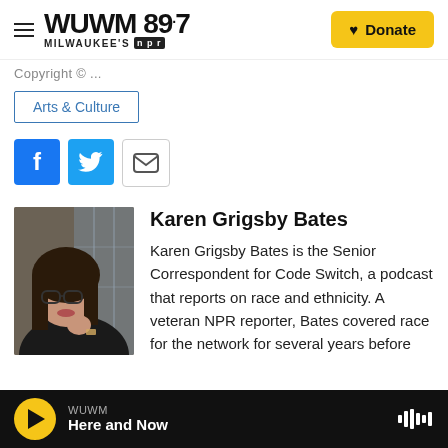[Figure (screenshot): WUWM 89.7 Milwaukee's NPR website header with hamburger menu, logo, and yellow Donate button]
Copyright ...
Arts & Culture
[Figure (infographic): Social sharing buttons: Facebook (blue), Twitter (blue), Email (outlined)]
[Figure (photo): Headshot photo of Karen Grigsby Bates, a woman with long dark hair and glasses, resting her chin on her hand]
Karen Grigsby Bates
Karen Grigsby Bates is the Senior Correspondent for Code Switch, a podcast that reports on race and ethnicity. A veteran NPR reporter, Bates covered race for the network for several years before
WUWM Here and Now